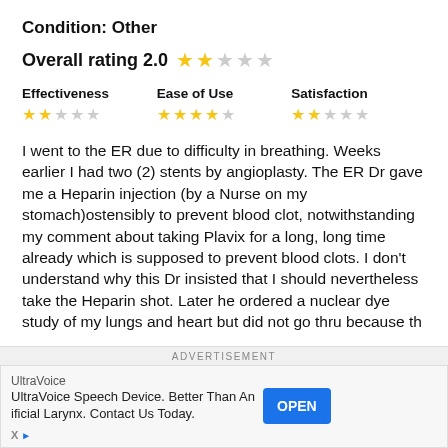Condition: Other
Overall rating 2.0 ★★☆☆☆
| Effectiveness | Ease of Use | Satisfaction |
| --- | --- | --- |
| ★★☆☆☆ | ★★★★☆ | ★★☆☆☆ |
I went to the ER due to difficulty in breathing. Weeks earlier I had two (2) stents by angioplasty. The ER Dr gave me a Heparin injection (by a Nurse on my stomach)ostensibly to prevent blood clot, notwithstanding my comment about taking Plavix for a long, long time already which is supposed to prevent blood clots. I don't understand why this Dr insisted that I should nevertheless take the Heparin shot. Later he ordered a nuclear dye study of my lungs and heart but did not go thru because th
ADVERTISEMENT
UltraVoice
UltraVoice Speech Device. Better Than An
ificial Larynx. Contact Us Today.
OPEN